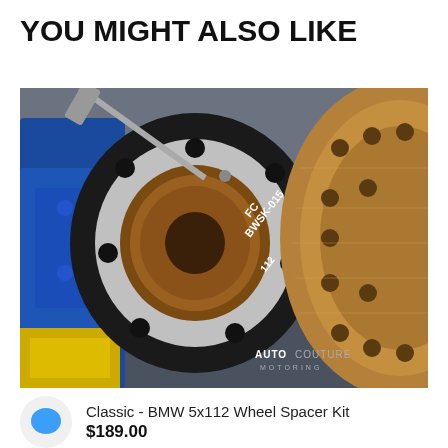YOU MIGHT ALSO LIKE
[Figure (photo): Close-up photograph of a BMW wheel spacer kit (BWSK-015, 112) installed on a car hub, with a blue brake caliper visible on the left and a large drilled rotor on the right. AutoCouture Motoring watermark in the lower right corner.]
Classic - BMW 5x112 Wheel Spacer Kit
$189.00